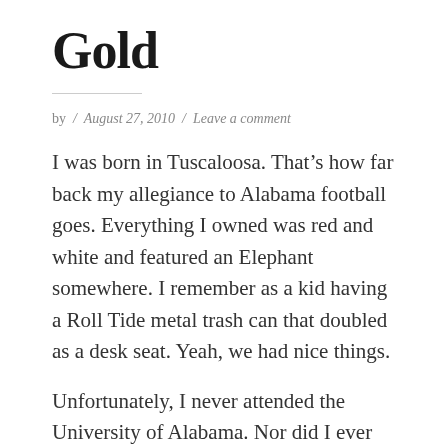Gold
by / August 27, 2010 / Leave a comment
I was born in Tuscaloosa. That’s how far back my allegiance to Alabama football goes. Everything I owned was red and white and featured an Elephant somewhere. I remember as a kid having a Roll Tide metal trash can that doubled as a desk seat. Yeah, we had nice things.
Unfortunately, I never attended the University of Alabama. Nor did I ever truly understand football. I was in the band, which meant I joined the band and...